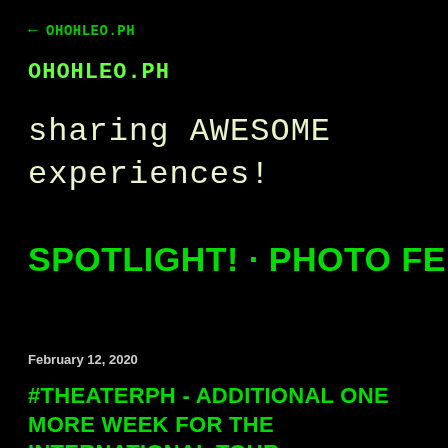← OHOHLEO.PH
OHOHLEO.PH
sharing AWESOME experiences!
SPOTLIGHT! · PHOTO FEED
February 12, 2020
#THEATERPH - ADDITIONAL ONE MORE WEEK FOR THE INTERNATIONAL TOUR